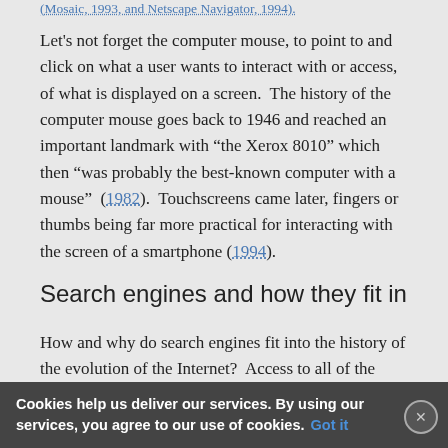(Mosaic, 1993, and Netscape Navigator, 1994).
Let's not forget the computer mouse, to point to and click on what a user wants to interact with or access, of what is displayed on a screen.  The history of the computer mouse goes back to 1946 and reached an important landmark with “the Xerox 8010” which then “was probably the best-known computer with a mouse”  (1982).  Touchscreens came later, fingers or thumbs being far more practical for interacting with the screen of a smartphone (1994).
Search engines and how they fit in
How and why do search engines fit into the history of the evolution of the Internet?  Access to all of the information accessible in the world will not do anyone
Cookies help us deliver our services. By using our services, you agree to our use of cookies. Got it